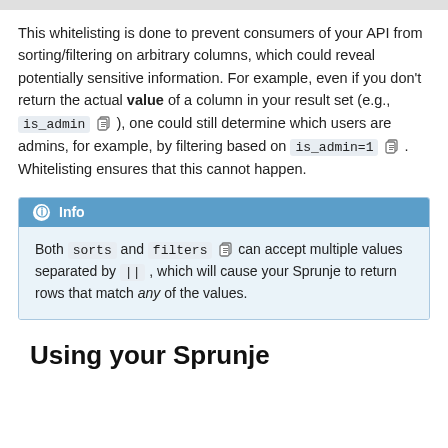This whitelisting is done to prevent consumers of your API from sorting/filtering on arbitrary columns, which could reveal potentially sensitive information. For example, even if you don't return the actual value of a column in your result set (e.g., is_admin ), one could still determine which users are admins, for example, by filtering based on is_admin=1 . Whitelisting ensures that this cannot happen.
Info
Both sorts and filters can accept multiple values separated by || , which will cause your Sprunje to return rows that match any of the values.
Using your Sprunje